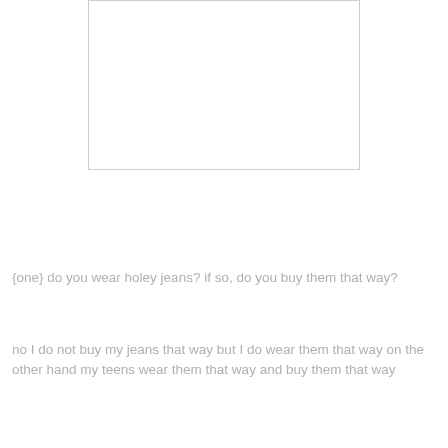[Figure (other): Empty white rectangle with thin gray border]
{one} do you wear holey jeans? if so, do you buy them that way?
no I do not buy my jeans that way but I do wear them that way on the other hand my teens wear them that way and buy them that way